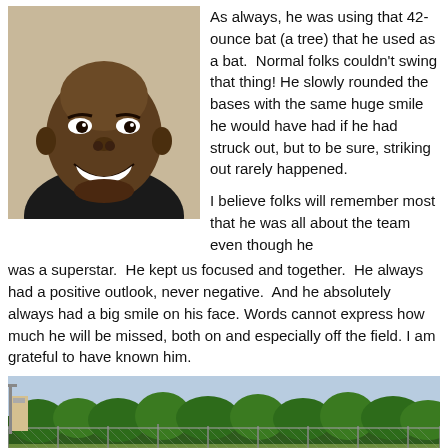[Figure (photo): Portrait photo of a smiling man wearing a black shirt]
As always, he was using that 42-ounce bat (a tree) that he used as a bat.  Normal folks couldn't swing that thing! He slowly rounded the bases with the same huge smile he would have had if he had struck out, but to be sure, striking out rarely happened.

I believe folks will remember most that he was all about the team even though he was a superstar.  He kept us focused and together.  He always had a positive outlook, never negative.  And he absolutely always had a big smile on his face. Words cannot express how much he will be missed, both on and especially off the field. I am grateful to have known him.
[Figure (photo): Outdoor photo of a baseball field viewed through a chain-link fence, with trees in the background]